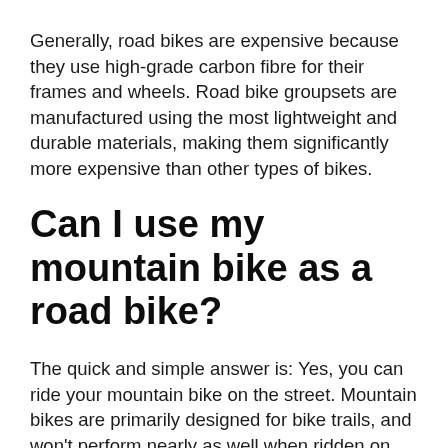Generally, road bikes are expensive because they use high-grade carbon fibre for their frames and wheels. Road bike groupsets are manufactured using the most lightweight and durable materials, making them significantly more expensive than other types of bikes.
Can I use my mountain bike as a road bike?
The quick and simple answer is: Yes, you can ride your mountain bike on the street. Mountain bikes are primarily designed for bike trails, and won't perform nearly as well when ridden on the road, but you can definitely do it.